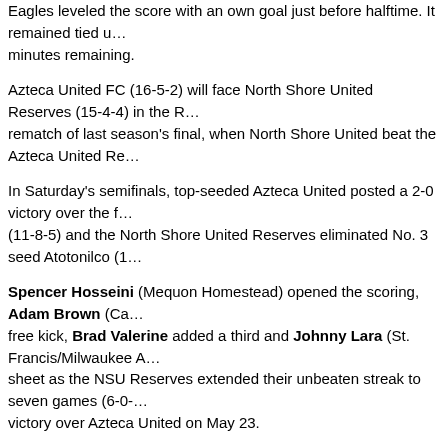Eagles leveled the score with an own goal just before halftime. It remained tied u... minutes remaining.
Azteca United FC (16-5-2) will face North Shore United Reserves (15-4-4) in the R... rematch of last season's final, when North Shore United beat the Azteca United Re...
In Saturday's semifinals, top-seeded Azteca United posted a 2-0 victory over the f... (11-8-5) and the North Shore United Reserves eliminated No. 3 seed Atotonilco (1...
Spencer Hosseini (Mequon Homestead) opened the scoring, Adam Brown (Ca... free kick, Brad Valerine added a third and Johnny Lara (St. Francis/Milwaukee A... sheet as the NSU Reserves extended their unbeaten streak to seven games (6-0-... victory over Azteca United on May 23.
Elm Grove Blue, which outscored opponents 31-3 in winning all five o... seed as the WSL Women's Premier League playoffs start Saturday at... SC Waukesha-Strike FC also was unbeaten and allowed just three go... Grove. Four quarterfinals and a consolation match will be played Satu... game and final set for July 25 at Croatian Park in Franklin.
WSL WOMEN'S PREMIER LEAGUE PLAYOFFS
Saturday's matches
At SCORe Complex, Franksville
Quarterfinals
No. 1 Elm Grove Blue (5-0-0) vs. No. 8 Madison 56ers Majors (1-3-1), noo...